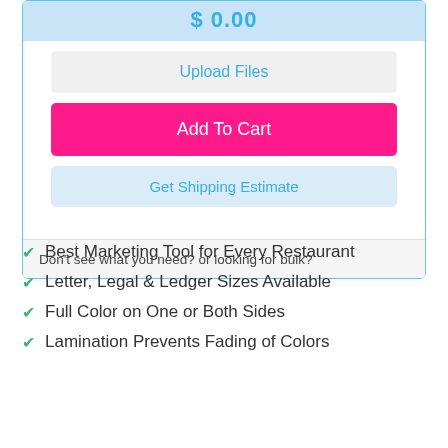$ 0.00
Upload Files
Add To Cart
Get Shipping Estimate
Don't see what you need? or looking for bulk?
Best Marketing Tool for Every Restaurant
Letter, Legal & Ledger Sizes Available
Full Color on One or Both Sides
Lamination Prevents Fading of Colors